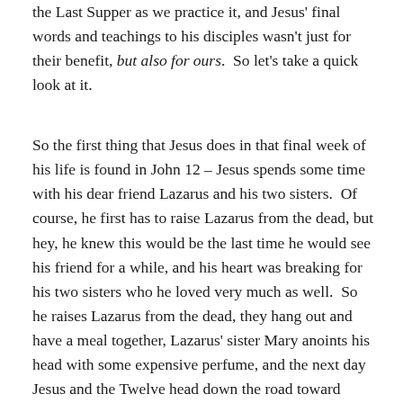the Last Supper as we practice it, and Jesus' final words and teachings to his disciples wasn't just for their benefit, but also for ours. So let's take a quick look at it.
So the first thing that Jesus does in that final week of his life is found in John 12 – Jesus spends some time with his dear friend Lazarus and his two sisters. Of course, he first has to raise Lazarus from the dead, but hey, he knew this would be the last time he would see his friend for a while, and his heart was breaking for his two sisters who he loved very much as well. So he raises Lazarus from the dead, they hang out and have a meal together, Lazarus' sister Mary anoints his head with some expensive perfume, and the next day Jesus and the Twelve head down the road toward